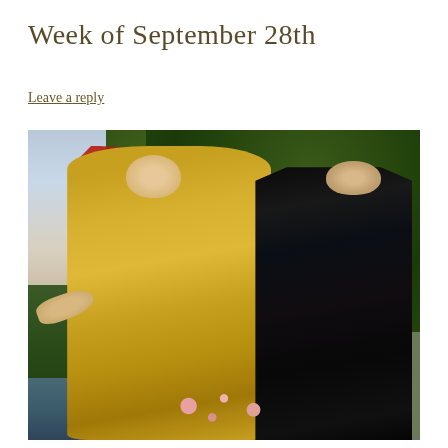Week of September 28th
Leave a reply
[Figure (illustration): Classical oil painting depicting two female figures in a landscape setting. On the left, a woman in a flowing yellow gown with a red headscarf reaches out with one hand while the other touches her face. On the right, a woman draped entirely in black stands close behind her. The background features lush dark green trees and a cloudy sky.]